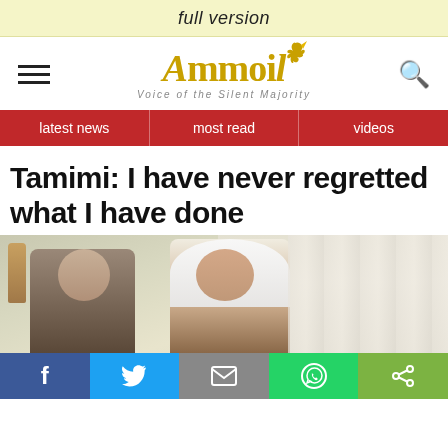full version
[Figure (logo): Ammon News logo — stylized golden 'Ammon' text with bird icon, tagline 'Voice of the Silent Majority']
latest news | most read | videos
Tamimi: I have never regretted what I have done
[Figure (photo): Photo of two people seated indoors — an older man on the left and a woman in white hijab speaking on the right, with curtains and a lamp in the background]
Social share bar: Facebook, Twitter, Email, WhatsApp, Share